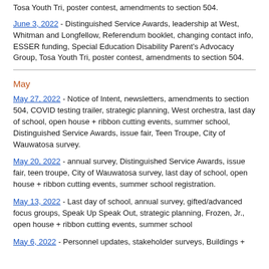Tosa Youth Tri, poster contest, amendments to section 504.
June 3, 2022 - Distinguished Service Awards, leadership at West, Whitman and Longfellow, Referendum booklet, changing contact info, ESSER funding, Special Education Disability Parent's Advocacy Group, Tosa Youth Tri, poster contest, amendments to section 504.
May
May 27, 2022 - Notice of Intent, newsletters, amendments to section 504, COVID testing trailer, strategic planning, West orchestra, last day of school, open house + ribbon cutting events, summer school, Distinguished Service Awards, issue fair, Teen Troupe, City of Wauwatosa survey.
May 20, 2022 - annual survey, Distinguished Service Awards, issue fair, teen troupe, City of Wauwatosa survey, last day of school, open house + ribbon cutting events, summer school registration.
May 13, 2022 - Last day of school, annual survey, gifted/advanced focus groups, Speak Up Speak Out, strategic planning, Frozen, Jr., open house + ribbon cutting events, summer school
May 6, 2022 - Personnel updates, stakeholder surveys, Buildings +